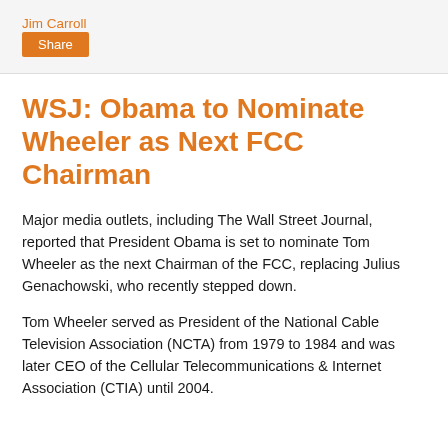Jim Carroll
Share
WSJ: Obama to Nominate Wheeler as Next FCC Chairman
Major media outlets, including The Wall Street Journal, reported that President Obama is set to nominate Tom Wheeler as the next Chairman of the FCC, replacing Julius Genachowski, who recently stepped down.
Tom Wheeler served as President of the National Cable Television Association (NCTA) from 1979 to 1984 and was later CEO of the Cellular Telecommunications & Internet Association (CTIA) until 2004.